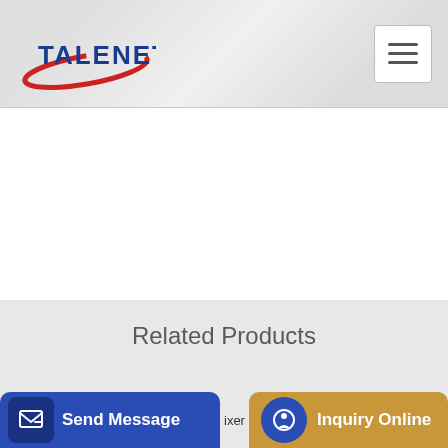[Figure (logo): Talenet company logo with red swoosh and blue text]
[Figure (other): Hamburger menu button (three horizontal lines) in white box]
Related Products
mobile intermittent 80 tph lqc80 asphalt mixing plant in vietnam
AllWays concrete pumping LinkedIn
Send Message
Inquiry Online